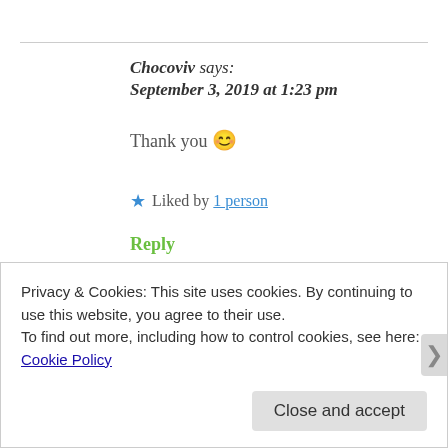Chocoviv says:
September 3, 2019 at 1:23 pm
Thank you 😊
★ Liked by 1 person
Reply
Privacy & Cookies: This site uses cookies. By continuing to use this website, you agree to their use.
To find out more, including how to control cookies, see here: Cookie Policy
Close and accept